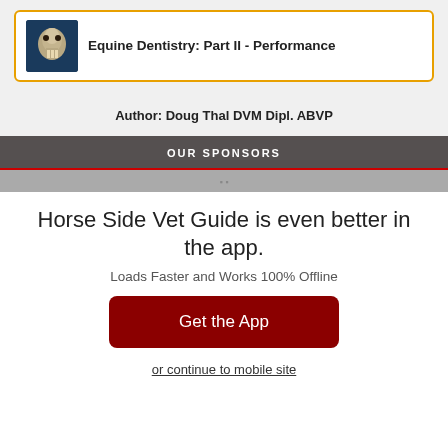[Figure (illustration): Card with orange border showing a horse skull/dental image thumbnail and title text for Equine Dentistry Part II Performance]
Equine Dentistry: Part II - Performance
Author: Doug Thal DVM Dipl. ABVP
OUR SPONSORS
[Figure (other): Sponsor image strip with gray background and red border]
Horse Side Vet Guide is even better in the app.
Loads Faster and Works 100% Offline
Get the App
or continue to mobile site